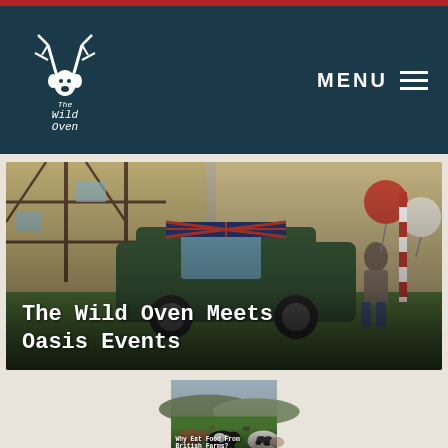The Wild Oven — MENU
[Figure (photo): Man standing next to a green Land Rover Defender with Union Jack decoration and red/white/grey balloons outside a Tudor-style building. Text overlay reads 'The Wild Oven Meets Oasis Events'.]
The Wild Oven Meets Oasis Events
[Figure (photo): Cows in a green field with rolling hills in the background. Text overlay reads 'Why Eat Food From British Farms?'.]
Why Eat Food From British Farms?